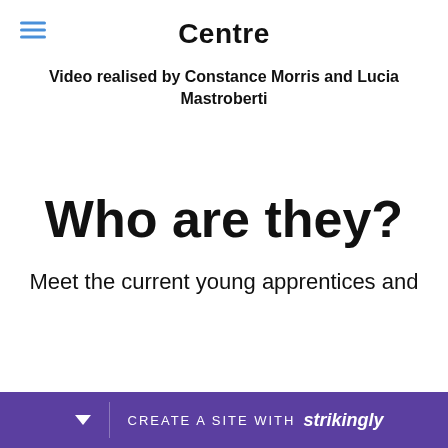Centre
Video realised by Constance Morris and Lucia Mastroberti
Who are they?
Meet the current young apprentices and
CREATE A SITE WITH strikingly